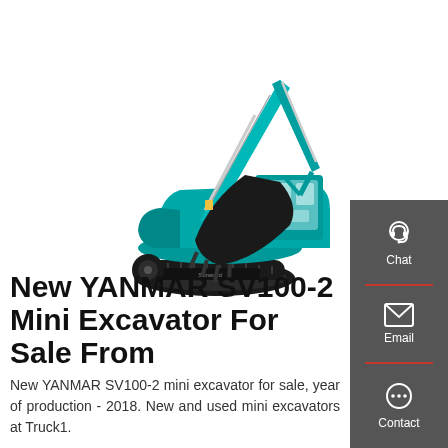[Figure (photo): Teal/turquoise SUNWARD large crawler excavator on white background, shown in profile view with arm extended and bucket lowered]
New YANMAR SV100-2 Mini Excavator For Sale From
New YANMAR SV100-2 mini excavator for sale, year of production - 2018. New and used mini excavators at Truck1.